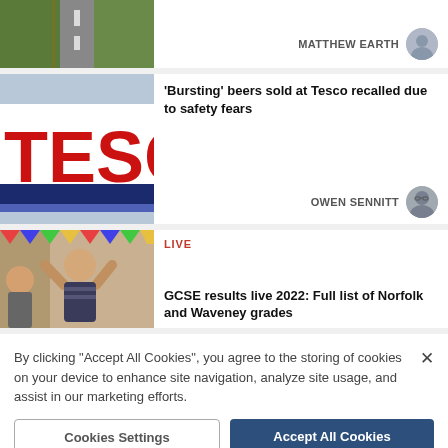[Figure (photo): Partial view of a narrow road from above, with green hedges on side]
MATTHEW EARTH
[Figure (photo): Tesco store sign with large red letters on white background]
'Bursting' beers sold at Tesco recalled due to safety fears
OWEN SENNITT
[Figure (photo): A person celebrating with arms raised, colorful decorations in background]
LIVE
GCSE results live 2022: Full list of Norfolk and Waveney grades
By clicking "Accept All Cookies", you agree to the storing of cookies on your device to enhance site navigation, analyze site usage, and assist in our marketing efforts.
Cookies Settings
Accept All Cookies